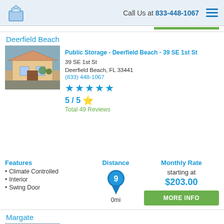Call Us at 833-448-1067
Deerfield Beach
Public Storage - Deerfield Beach - 39 SE 1st St
39 SE 1st St
Deerfield Beach, FL 33441
(833) 448-1067
5 / 5
Total 49 Reviews
Features
Climate Controlled
Interior
Swing Door
Distance
9
0mi
Monthly Rate
starting at
$203.00
Margate
Storage King USA - 124 - Margate, FL - NW 31st Street
5600 Northwest 31st Street
Margate, FL 33063
(833) 448-1067